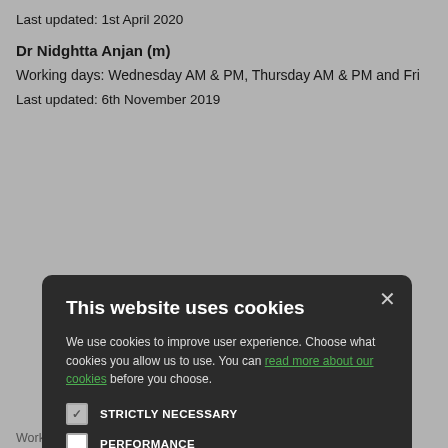Last updated: 1st April 2020
Dr Nidghtta Anjan (m)
Working days: Wednesday AM & PM, Thursday AM & PM and Fri
Last updated: 6th November 2019
[Figure (screenshot): Cookie consent modal dialog on dark background. Title: 'This website uses cookies'. Body text: 'We use cookies to improve user experience. Choose what cookies you allow us to use. You can read more about our cookies before you choose.' Checkboxes: STRICTLY NECESSARY (checked), PERFORMANCE (unchecked), TARGETING (unchecked), FUNCTIONALITY (unchecked). Buttons: ACCEPT ALL (green), DECLINE ALL (outlined). Close X button top right.]
n our palliative care
M & PM, Wednesday
9), McChB (1996)
ctice but particularly
in April 2020.
Working days: Monday AM & PM, Tuesday AM & PM, Wednesday